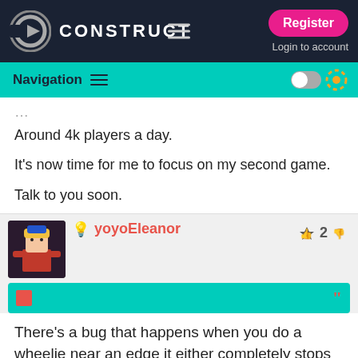CONSTRUCT — Register / Login to account
Navigation
Around 4k players a day.
It's now time for me to focus on my second game.
Talk to you soon.
yoyoEleanor  👍 2 👎
There's a bug that happens when you do a wheelie near an edge it either completely stops you until the rotation is finished or teleports you straight into the hole killing your run.